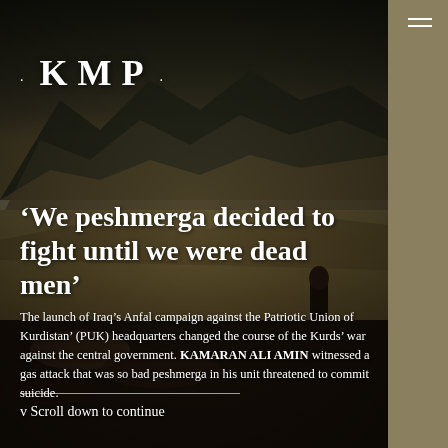[Figure (photo): A dramatic mountain landscape in Kurdistan/Iraq with rocky terrain, dark cloudy sky, and a solitary figure in dark robes standing among ruins in the right portion of the image.]
KMP
'We peshmerga decided to fight until we were dead men'
The launch of Iraq's Anfal campaign against the Patriotic Union of Kurdistan' (PUK) headquarters changed the course of the Kurds' war against the central government. KAMARAN ALI AMIN witnessed a gas attack that was so bad peshmerga in his unit threatened to commit suicide.
v Scroll down to continue